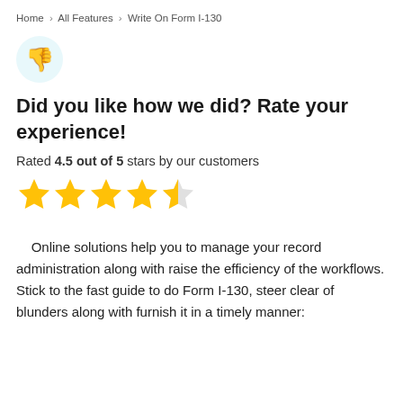Home › All Features › Write On Form I-130
[Figure (illustration): Thumbs down emoji icon inside a light teal circle]
Did you like how we did? Rate your experience!
Rated 4.5 out of 5 stars by our customers
[Figure (infographic): 4.5 out of 5 gold stars rating: four full stars and one half star]
Online solutions help you to manage your record administration along with raise the efficiency of the workflows. Stick to the fast guide to do Form I-130, steer clear of blunders along with furnish it in a timely manner: